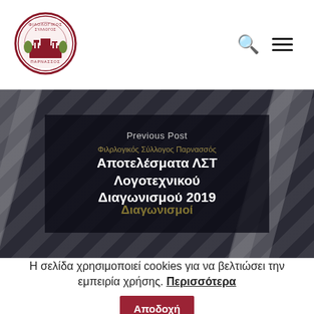[Figure (logo): Circular seal/logo of Philological Society Parnassos with red border and building illustration]
[Figure (photo): Dark background hero image with diagonal stripes showing a decorative scene, with overlay box containing post navigation text in Greek]
Η σελίδα χρησιμοποιεί cookies για να βελτιώσει την εμπειρία χρήσης. Περισσότερα Αποδοχή